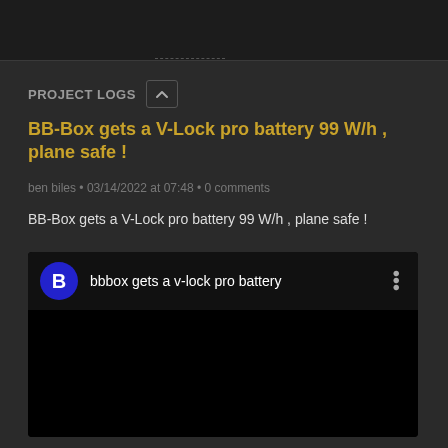PROJECT LOGS
BB-Box gets a V-Lock pro battery 99 W/h , plane safe !
ben biles • 03/14/2022 at 07:48 • 0 comments
BB-Box gets a V-Lock pro battery 99 W/h , plane safe !
[Figure (screenshot): YouTube-style video embed with blue 'B' channel icon and title 'bbbox gets a v-lock pro battery' with three-dot menu icon]